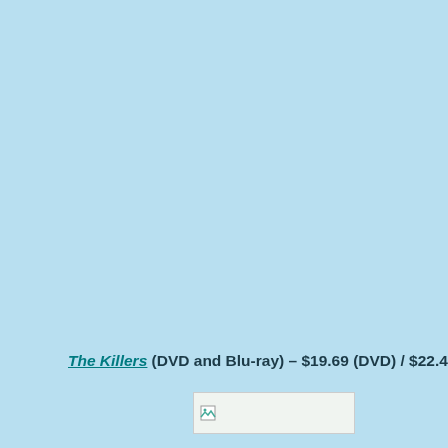The Killers (DVD and Blu-ray) – $19.69 (DVD) / $22.49 (Blu)
[Figure (photo): A broken/unloaded image placeholder thumbnail]